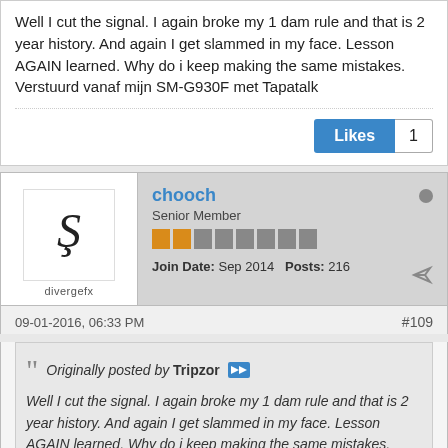Well I cut the signal. I again broke my 1 dam rule and that is 2 year history. And again I get slammed in my face. Lesson AGAIN learned. Why do i keep making the same mistakes. Verstuurd vanaf mijn SM-G930F met Tapatalk
Likes 1
chooch
Senior Member
Join Date: Sep 2014  Posts: 216
09-01-2016, 06:33 PM
#109
Originally posted by Tripzor
Well I cut the signal. I again broke my 1 dam rule and that is 2 year history. And again I get slammed in my face. Lesson AGAIN learned. Why do i keep making the same mistakes. Verstuurd vanaf mijn SM-G930F met Tapatalk